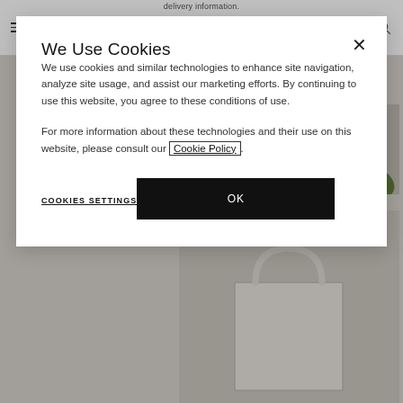Free MENU | GUCCI | delivery information.
We Use Cookies
We use cookies and similar technologies to enhance site navigation, analyze site usage, and assist our marketing efforts. By continuing to use this website, you agree to these conditions of use.
For more information about these technologies and their use on this website, please consult our Cookie Policy.
COOKIES SETTINGS
OK
[Figure (photo): Background image showing green leaves on a light surface, partially obscured by cookie modal]
[Figure (photo): Background image showing a cream/beige tote bag on a light grey background]